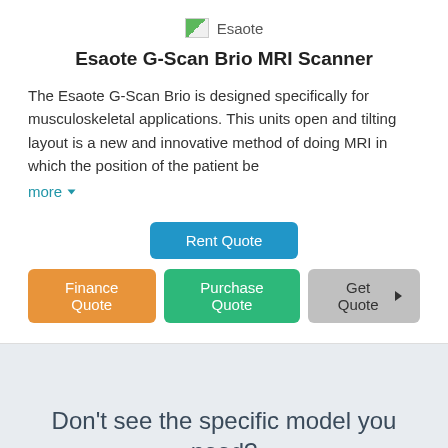[Figure (logo): Esaote company logo with small image icon and text 'Esaote']
Esaote G-Scan Brio MRI Scanner
The Esaote G-Scan Brio is designed specifically for musculoskeletal applications. This units open and tilting layout is a new and innovative method of doing MRI in which the position of the patient be
more ▾
Rent Quote
Finance Quote  Purchase Quote  Get Quote ▶
Don't see the specific model you need?
Request supplier quotes